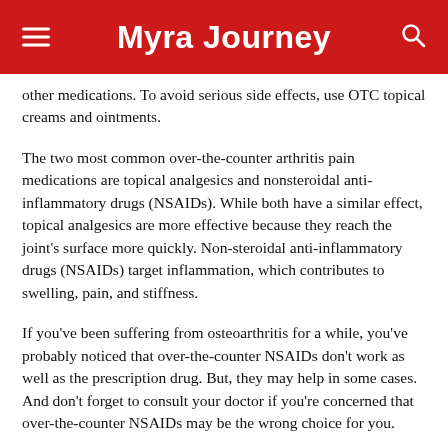Myra Journey
other medications. To avoid serious side effects, use OTC topical creams and ointments.
The two most common over-the-counter arthritis pain medications are topical analgesics and nonsteroidal anti-inflammatory drugs (NSAIDs). While both have a similar effect, topical analgesics are more effective because they reach the joint's surface more quickly. Non-steroidal anti-inflammatory drugs (NSAIDs) target inflammation, which contributes to swelling, pain, and stiffness.
If you've been suffering from osteoarthritis for a while, you've probably noticed that over-the-counter NSAIDs don't work as well as the prescription drug. But, they may help in some cases. And don't forget to consult your doctor if you're concerned that over-the-counter NSAIDs may be the wrong choice for you.